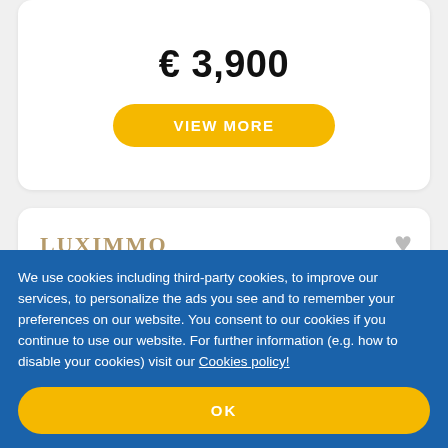€ 3,900
VIEW MORE
[Figure (logo): Luximmo Selection logo with gold text and grey SELECTION subtitle]
We use cookies including third-party cookies, to improve our services, to personalize the ads you see and to remember your preferences on our website. You consent to our cookies if you continue to use our website. For further information (e.g. how to disable your cookies) visit our Cookies policy!
OK